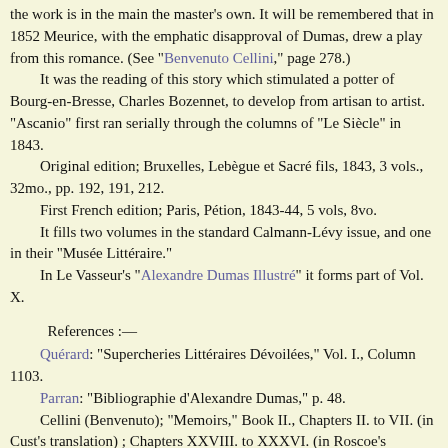the work is in the main the master's own. It will be remembered that in 1852 Meurice, with the emphatic disapproval of Dumas, drew a play from this romance. (See "Benvenuto Cellini," page 278.)
It was the reading of this story which stimulated a potter of Bourg-en-Bresse, Charles Bozennet, to develop from artisan to artist. "Ascanio" first ran serially through the columns of "Le Siècle" in 1843.
Original edition; Bruxelles, Lebègue et Sacré fils, 1843, 3 vols., 32mo., pp. 192, 191, 212.
First French edition; Paris, Pétion, 1843-44, 5 vols, 8vo.
It fills two volumes in the standard Calmann-Lévy issue, and one in their "Musée Littéraire."
In Le Vasseur's "Alexandre Dumas Illustré" it forms part of Vol. X.
References :—
Quérard: "Supercheries Littéraires Dévoilées," Vol. I., Column 1103.
Parran: "Bibliographie d'Alexandre Dumas," p. 48.
Cellini (Benvenuto); "Memoirs," Book II., Chapters II. to VII. (in Cust's translation) ; Chapters XXVIII. to XXXVI. (in Roscoe's translation).
Dumas: "Causeries," Vol. I.: "Une Fabrique des Vases Etrusques à Bourg-en-Bresse."